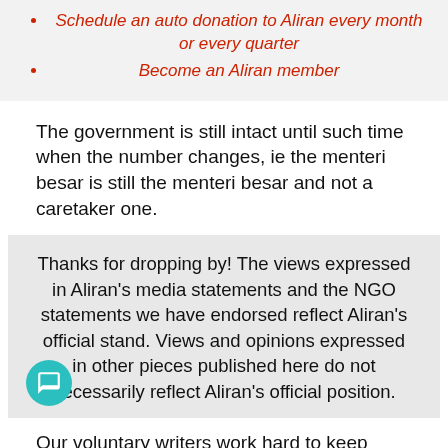Schedule an auto donation to Aliran every month or every quarter
Become an Aliran member
The government is still intact until such time when the number changes, ie the menteri besar is still the menteri besar and not a caretaker one.
Thanks for dropping by! The views expressed in Aliran's media statements and the NGO statements we have endorsed reflect Aliran's official stand. Views and opinions expressed in other pieces published here do not necessarily reflect Aliran's official position.
Our voluntary writers work hard to keep